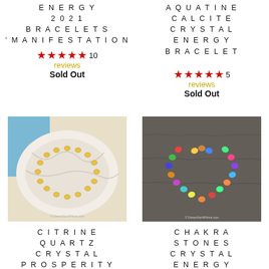ENERGY 2021 BRACELETS 'MANIFESTATION
★★★★★ 10 reviews
Sold Out
AQUATINE CALCITE CRYSTAL ENERGY BRACELET
★★★★★ 5 reviews
Sold Out
[Figure (photo): Yellow citrine quartz crystal bracelet arranged in a circle on white fabric]
[Figure (photo): Colorful chakra stones crystal bracelet arranged in a heart shape on dark surface]
CITRINE QUARTZ CRYSTAL PROSPERITY BRACELET BLESSED &
CHAKRA STONES CRYSTAL ENERGY BRACELETS BLESSED &